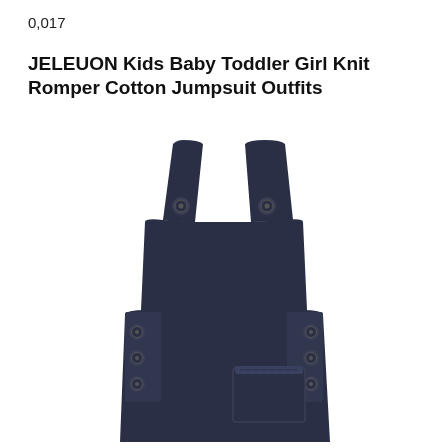0,017
JELEUON Kids Baby Toddler Girl Knit Romper Cotton Jumpsuit Outfits
[Figure (photo): Navy blue knit romper/jumpsuit for toddler girls, showing straps with buttons at shoulders and snap buttons on the sides, with a front pocket detail, photographed on a white background.]